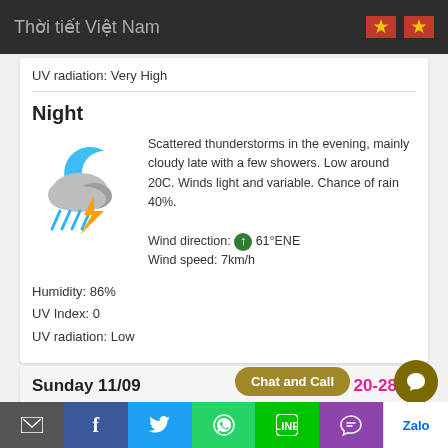Thời tiết Việt Nam
UV radiation: Very High
Night
[Figure (illustration): Weather icon showing clouds with moon (blue crescent), rain streaks, and a yellow lightning bolt]
Scattered thunderstorms in the evening, mainly cloudy late with a few showers. Low around 20C. Winds light and variable. Chance of rain 40%. Wind direction: 61°ENE Wind speed: 7km/h
Humidity: 86%
UV Index: 0
UV radiation: Low
Sunday 11/09  20-28°C
Chat and Call | email | Facebook | Twitter | WhatsApp | Line | Phone | Zalo